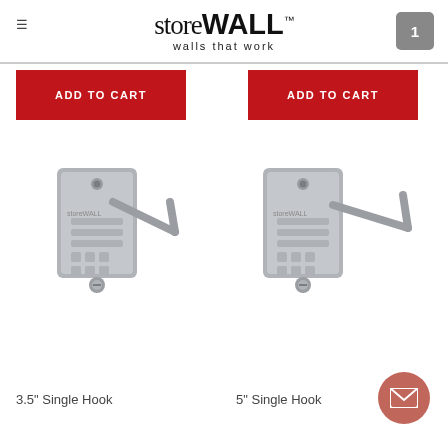storeWALL™ — walls that work
ADD TO CART
ADD TO CART
[Figure (photo): Gray metal single hook product mounted on slatwall panel, 3.5 inch size]
[Figure (photo): Gray metal single hook product mounted on slatwall panel, 5 inch size]
3.5" Single Hook
5" Single Hook